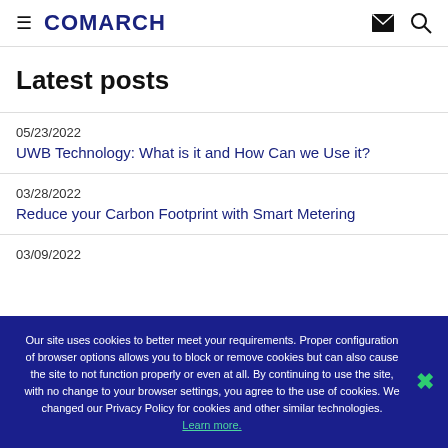COMARCH
Latest posts
05/23/2022
UWB Technology: What is it and How Can we Use it?
03/28/2022
Reduce your Carbon Footprint with Smart Metering
03/09/2022
Our site uses cookies to better meet your requirements. Proper configuration of browser options allows you to block or remove cookies but can also cause the site to not function properly or even at all. By continuing to use the site, with no change to your browser settings, you agree to the use of cookies. We changed our Privacy Policy for cookies and other similar technologies. Learn more.